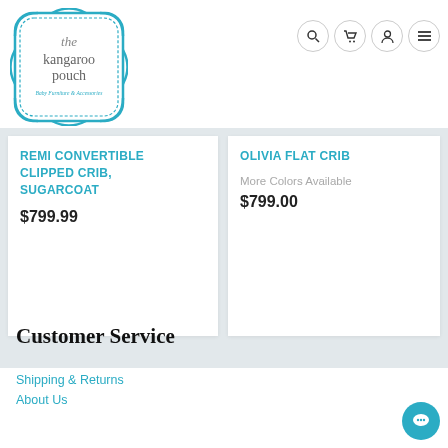[Figure (logo): The Kangaroo Pouch logo - decorative frame with text 'the kangaroo pouch' and subtitle 'Baby Furniture & Accessories' in teal/blue color]
[Figure (infographic): Navigation icons: search (magnifying glass), cart, user/account, and hamburger menu - all in circular borders]
REMI CONVERTIBLE CLIPPED CRIB, SUGARCOAT
$799.99
OLIVIA FLAT CRIB
More Colors Available
$799.00
Customer Service
Shipping & Returns
About Us